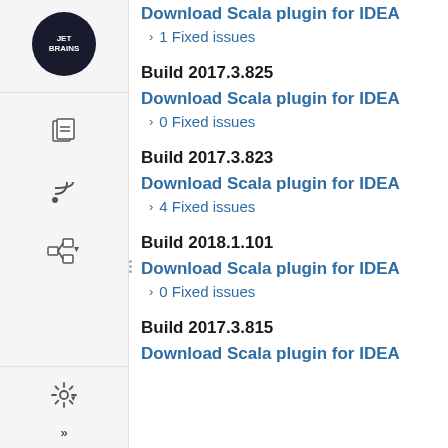Download Scala plugin for IDEA
> 1 Fixed issues
Build 2017.3.825
Download Scala plugin for IDEA
> 0 Fixed issues
Build 2017.3.823
Download Scala plugin for IDEA
> 4 Fixed issues
Build 2018.1.101
Download Scala plugin for IDEA
> 0 Fixed issues
Build 2017.3.815
Download Scala plugin for IDEA